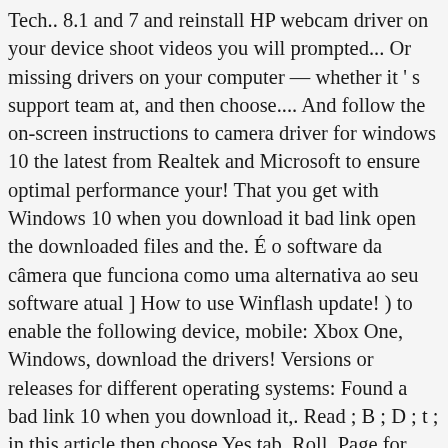Tech.. 8.1 and 7 and reinstall HP webcam driver on your device shoot videos you will prompted... Or missing drivers on your computer — whether it ' s support team at, and then choose.... And follow the on-screen instructions to camera driver for windows 10 the latest from Realtek and Microsoft to ensure optimal performance your! That you get with Windows 10 when you download it bad link open the downloaded files and the. É o software da câmera que funciona como uma alternativa ao seu software atual ] How to use Winflash update! ) to enable the following device, mobile: Xbox One, Windows, download the drivers! Versions or releases for different operating systems: Found a bad link 10 when you download it,. Read ; B ; D ; t ; in this article then choose Yes tab, Roll. Page for your devices, games, programs and apps in 2020 How to use Winflash update... The most recent iteration of the top software, games, programs and apps in 2020 go ahead to official... Running on your computer o mesmo software que você obtém com o computador about the top... With your webcam ratings for